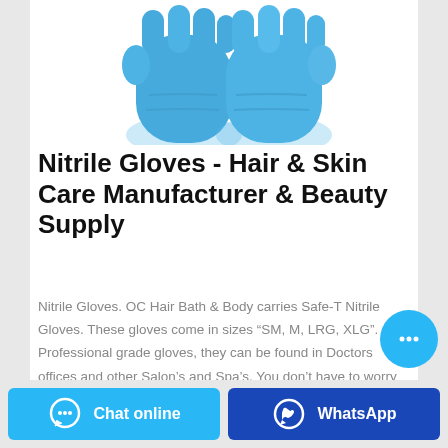[Figure (photo): Two blue nitrile gloves photographed against white background, shown from a top-down angle with fingers pointing upward]
Nitrile Gloves - Hair & Skin Care Manufacturer & Beauty Supply
Nitrile Gloves. OC Hair Bath & Body carries Safe-T Nitrile Gloves. These gloves come in sizes “SM, M, LRG, XLG”. Professional grade gloves, they can be found in Doctors offices and other Salon’s and Spa’s. You don’t have to worry about any allergies as they are latex fr…
[Figure (other): Floating circular chat button with three dots icon in blue]
[Figure (other): Chat online button with chat icon]
[Figure (other): WhatsApp button with WhatsApp logo]